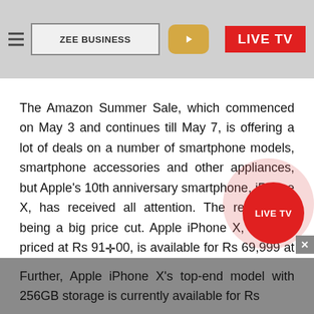ZEE BUSINESS | LIVE TV
The Amazon Summer Sale, which commenced on May 3 and continues till May 7, is offering a lot of deals on a number of smartphone models, smartphone accessories and other appliances, but Apple's 10th anniversary smartphone, iPhone X, has received all attention. The reason for being a big price cut. Apple iPhone X, officially priced at Rs 91,900, is available for Rs 69,999 at the ongoing Amazon Summer Sale.
Further, Apple iPhone X's top-end model with 256GB storage is currently available for Rs